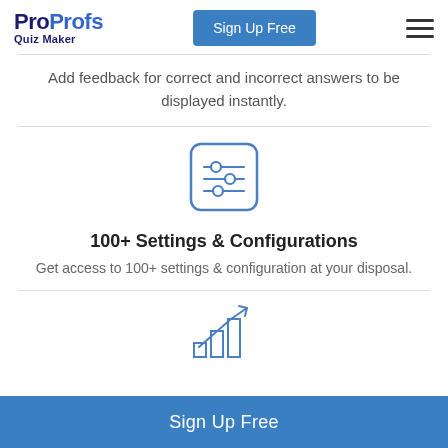ProProfs Quiz Maker | Sign Up Free
Add feedback for correct and incorrect answers to be displayed instantly.
[Figure (illustration): Settings/configurations icon: a square with rounded corners containing three horizontal adjustment sliders with circular handles, rendered in blue outline style.]
100+ Settings & Configurations
Get access to 100+ settings & configuration at your disposal.
[Figure (illustration): Chart icon: a bar chart with ascending bars and an upward trend arrow, rendered in blue outline style.]
Sign Up Free